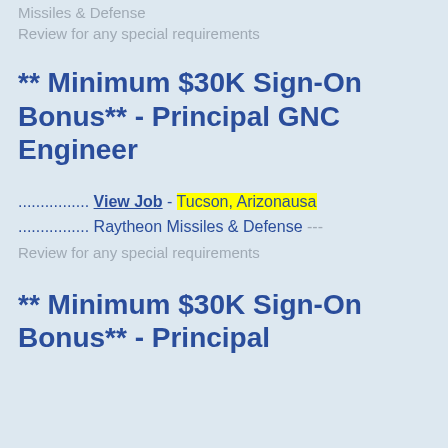Missiles & Defense Review for any special requirements
** Minimum $30K Sign-On Bonus** - Principal GNC Engineer
................ View Job - Tucson, Arizonausa ................ Raytheon Missiles & Defense --- Review for any special requirements
** Minimum $30K Sign-On Bonus** - Principal